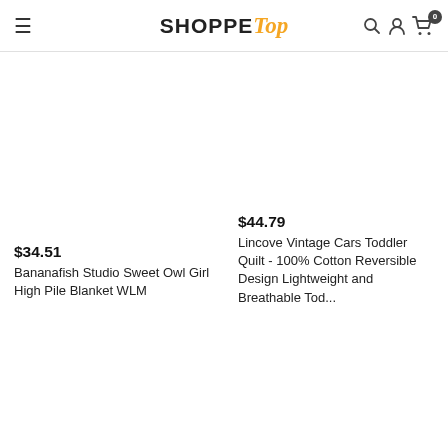ShoppeTop
$34.51
Bananafish Studio Sweet Owl Girl High Pile Blanket WLM
$44.79
Lincove Vintage Cars Toddler Quilt - 100% Cotton Reversible Design Lightweight and Breathable Tod...